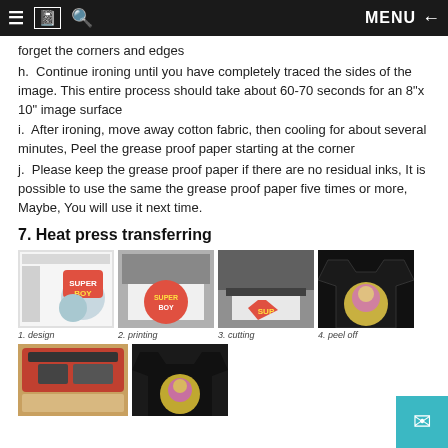≡  [book icon]  🔍   MENU  ←
forget the corners and edges
h.  Continue ironing until you have completely traced the sides of the image. This entire process should take about 60-70 seconds for an 8"x 10" image surface
i.  After ironing, move away cotton fabric, then cooling for about several minutes, Peel the grease proof paper starting at the corner
j.  Please keep the grease proof paper if there are no residual inks, It is possible to use the same the grease proof paper five times or more, Maybe, You will use it next time.
7. Heat press transferring
[Figure (photo): Four step process photos: 1.design - screenshot of design software, 2.printing - printer output, 3.cutting - vinyl cutter, 4.peel off - finished t-shirt with transferred design on black shirt]
1. design   2. printing   3. cutting   4. peel off
[Figure (photo): Two more step photos: heat press machine (red) and black t-shirt with transferred circular image]